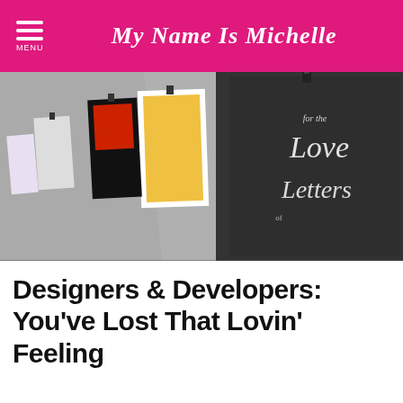My Name Is Michelle
[Figure (photo): Gallery wall with typography art posters hung with binder clips; prominent chalkboard in the foreground reads 'for the Love of Letters' in chalk lettering; other colorful posters hang along the left side of the wall.]
Designers & Developers: You've Lost That Lovin' Feeling